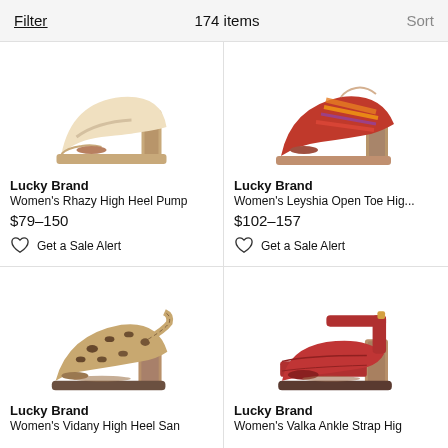Filter   174 items   Sort
[Figure (photo): Lucky Brand beige/cream high heel pump shoe on white background]
Lucky Brand
Women's Rhazy High Heel Pump
$79–150
Get a Sale Alert
[Figure (photo): Lucky Brand multicolor woven open toe high heel sandal on white background]
Lucky Brand
Women's Leyshia Open Toe Hig...
$102–157
Get a Sale Alert
[Figure (photo): Lucky Brand leopard print high heel sandal with ankle strap on white background]
Lucky Brand
Women's Vidany High Heel San
[Figure (photo): Lucky Brand dark red/burgundy ankle strap high heel sandal on white background]
Lucky Brand
Women's Valka Ankle Strap Hig